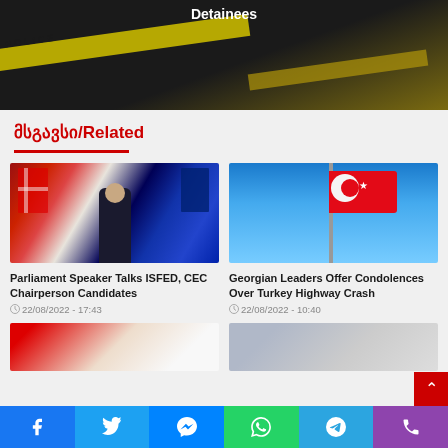[Figure (photo): Police tape scene with dark background, partially visible]
Detainees
მსგავსი/Related
[Figure (photo): Parliament Speaker standing in front of Georgian and EU flags]
Parliament Speaker Talks ISFED, CEC Chairperson Candidates
22/08/2022 - 17:43
[Figure (photo): Turkish flag waving against blue sky]
Georgian Leaders Offer Condolences Over Turkey Highway Crash
22/08/2022 - 10:40
[Figure (photo): Partial bottom image left - Georgian flags]
[Figure (photo): Partial bottom image right]
Facebook Twitter Messenger WhatsApp Telegram Phone